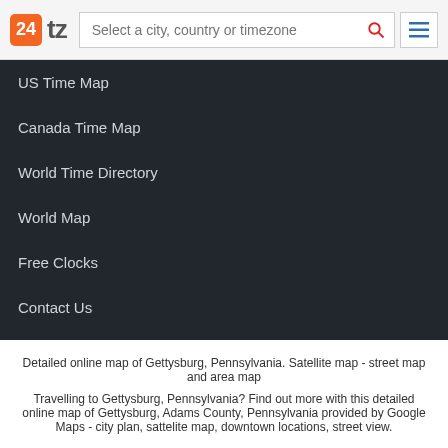24 tz | Select a city, country or timezone
US Time Map
Canada Time Map
World Time Directory
World Map
Free Clocks
Contact Us
Detailed online map of Gettysburg, Pennsylvania. Satellite map - street map and area map
Travelling to Gettysburg, Pennsylvania? Find out more with this detailed online map of Gettysburg, Adams County, Pennsylvania provided by Google Maps - city plan, sattelite map, downtown locations, street view.
Copyright © 2005 - 2022 24TimeZones.com. All rights reserved.